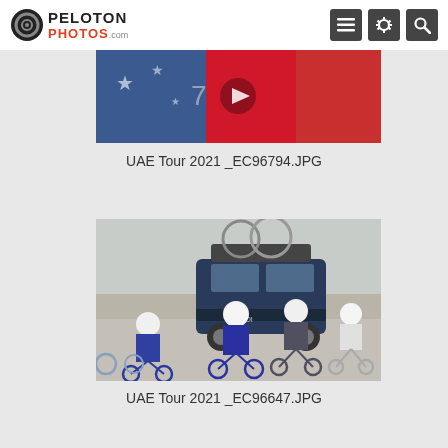PelotonPhotos.com
[Figure (photo): Partial cropped cycling race photo from UAE Tour 2021, showing riders in colorful jerseys]
UAE Tour 2021 _EC96794.JPG
[Figure (photo): Cyclists riding in desert conditions at UAE Tour 2021, with a team car (Audi SUV) with bikes on roof rack following behind the group of riders in blue/dark jerseys]
UAE Tour 2021 _EC96647.JPG